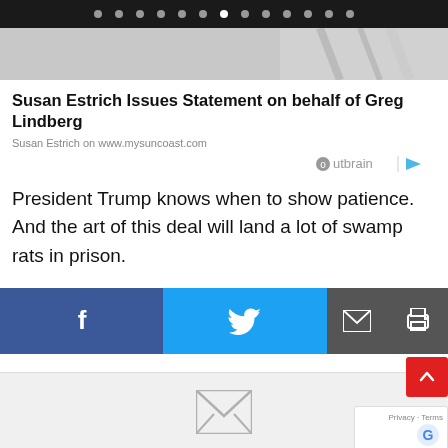Navigation dots carousel header
[Figure (photo): Partial image strip at top of content, appears to show a decorative or news-related photo]
Susan Estrich Issues Statement on behalf of Greg Lindberg
Susan Estrich on www.mysuncoast.com
[Figure (logo): Outbrain logo with arrow icon]
President Trump knows when to show patience. And the art of this deal will land a lot of swamp rats in prison.
[Figure (infographic): Social share buttons row: Facebook, Twitter, Email, Print]
[Figure (infographic): Bottom section with email envelope icon and reCAPTCHA overlay with scroll-to-top red button]